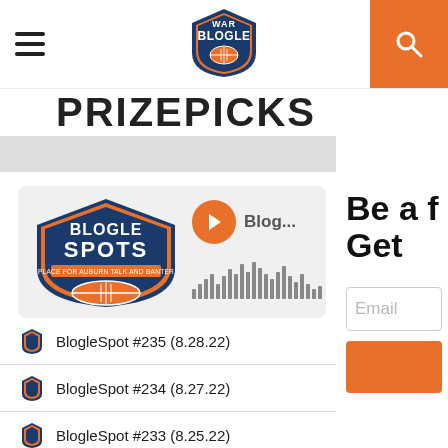War Blogle — navigation header with hamburger menu and search
PRIZEPICKS
[Figure (logo): Blogle Spots podcast logo — shield shape with navy and orange, football graphic, text BLOGLE SPOTS]
[Figure (other): Podcast player with orange play button, 'Blog...' label, and audio waveform visualization]
BlogleSpot #235 (8.28.22)
BlogleSpot #234 (8.27.22)
BlogleSpot #233 (8.25.22)
BlogleSpot #232 (2.4.22)
Be a f
Get
Email